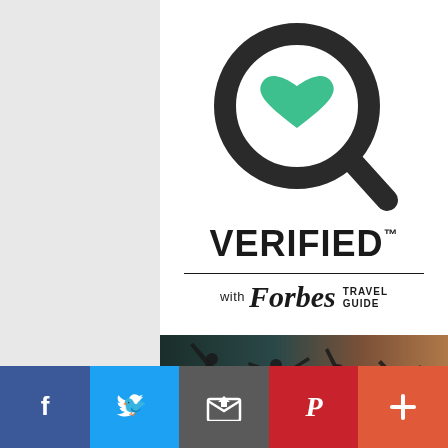[Figure (logo): Verified with Forbes Travel Guide logo — magnifying glass icon with teal heart, bold VERIFIED text, horizontal rule, and 'with Forbes TRAVEL GUIDE' text]
[Figure (photo): Dark moody photo of silhouetted people with arms raised at what appears to be a concert or celebration]
[Figure (infographic): Social share bar with Facebook, Twitter, Email, Pinterest, and More buttons]